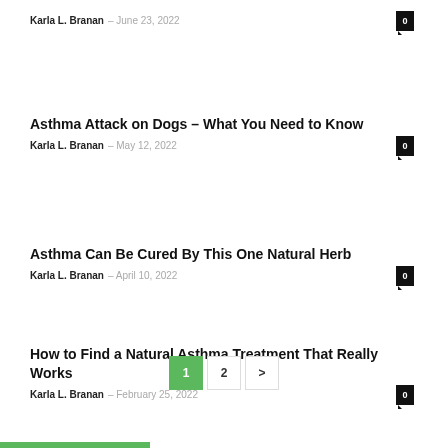Karla L. Branan – June 23, 2022
Asthma Attack on Dogs – What You Need to Know
Karla L. Branan – May 12, 2022
Asthma Can Be Cured By This One Natural Herb
Karla L. Branan – April 10, 2022
How to Find a Natural Asthma Treatment That Really Works
Karla L. Branan – February 25, 2022